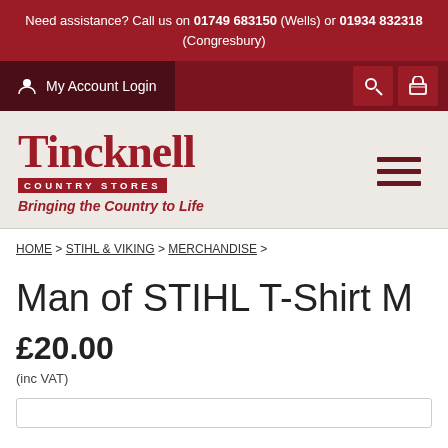Need assistance? Call us on 01749 683150 (Wells) or 01934 832318 (Congresbury)
My Account Login
[Figure (logo): Tincknell Country Stores logo with tagline 'Bringing the Country to Life']
HOME > STIHL & VIKING > MERCHANDISE >
Man of STIHL T-Shirt M
£20.00
(inc VAT)